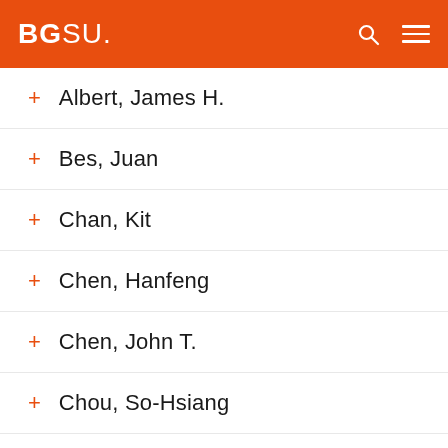BGSU
Albert, James H.
Bes, Juan
Chan, Kit
Chen, Hanfeng
Chen, John T.
Chou, So-Hsiang
Gupta, Arjun K.